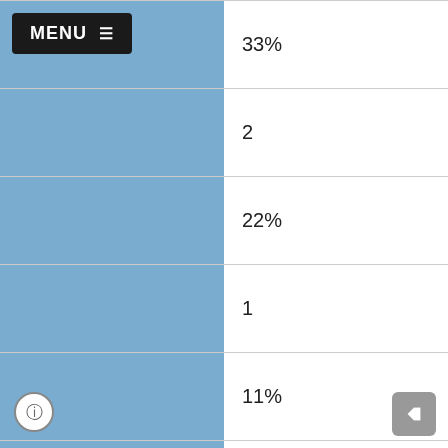|  |  |
| --- | --- |
| MENU ≡ | 33% |
|  | 2 |
|  | 22% |
|  | 1 |
|  | 11% |
|  | 3 |
|  | 33% |
| White |  |
| --- | --- |
|  | 80 |
|  | 13 |
|  | 16% |
|  | 31 |